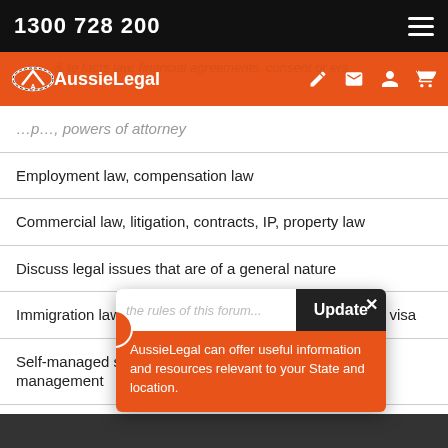1300 728 200
[Figure (logo): AussieLegal logo on orange navigation bar with icons]
…, powers of attorney
Employment law, compensation law
Commercial law, litigation, contracts, IP, property law
Discuss legal issues that are of a general nature
Immigration law, student visa, employment visa, partner visa
Self-managed super funds, superannuation, wealth management
Super, Managed Funds, Wealth, Insurance, SMSF, Pensions
Important information on the rules of this forum
AussieLegal can offer useful information and resources relevant to your State and location.